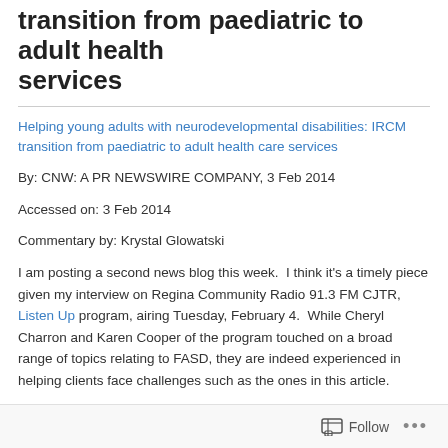transition from paediatric to adult health services
Helping young adults with neurodevelopmental disabilities: IRCM transition from paediatric to adult health care services
By: CNW: A PR NEWSWIRE COMPANY, 3 Feb 2014
Accessed on: 3 Feb 2014
Commentary by: Krystal Glowatski
I am posting a second news blog this week.  I think it's a timely piece given my interview on Regina Community Radio 91.3 FM CJTR, Listen Up program, airing Tuesday, February 4.  While Cheryl Charron and Karen Cooper of the program touched on a broad range of topics relating to FASD, they are indeed experienced in helping clients face challenges such as the ones in this article.
Those of you who work in FASD client services and support sectors
Follow ...